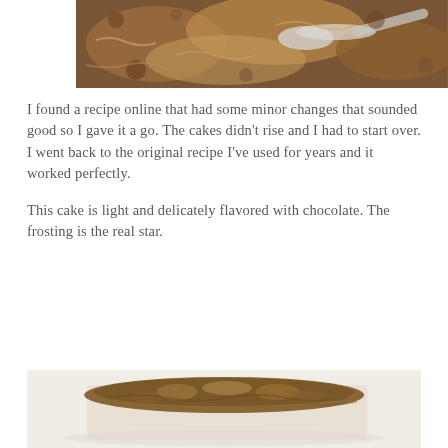[Figure (photo): Close-up overhead view of a dark baking dish with a coconut-pecan topping, with a silver spoon scooping into it. The topping appears to be a German chocolate cake frosting with coconut and pecans.]
I found a recipe online that had some minor changes that sounded good so I gave it a go. The cakes didn't rise and I had to start over. I went back to the original recipe I've used for years and it worked perfectly.
This cake is light and delicately flavored with chocolate. The frosting is the real star.
[Figure (photo): Close-up view of a cake slice topped with coconut-pecan frosting, showing the texture of the topping with visible coconut shreds and chopped pecans on a white plate.]